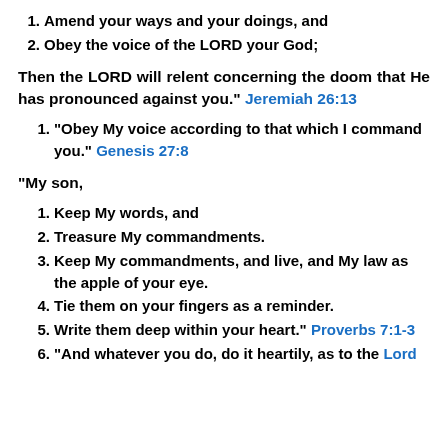1. Amend your ways and your doings, and
2. Obey the voice of the LORD your God;
Then the LORD will relent concerning the doom that He has pronounced against you."  Jeremiah 26:13
1. “Obey My voice according to that which I command you.”  Genesis 27:8
“My son,
1. Keep My words, and
2. Treasure My commandments.
3. Keep My commandments, and live, and My law as the apple of your eye.
4. Tie them on your fingers as a reminder.
5. Write them deep within your heart.”  Proverbs 7:1-3
6. “And whatever you do, do it heartily, as to the Lord